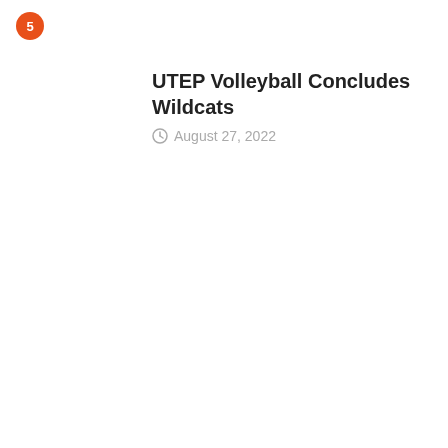[Figure (other): Orange circular badge with number 5]
UTEP Volleyball Concludes Wildcats
August 27, 2022